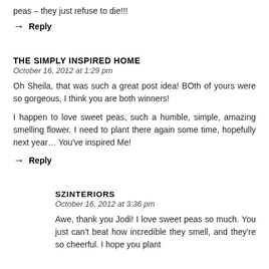peas – they just refuse to die!!!
→ Reply
THE SIMPLY INSPIRED HOME
October 16, 2012 at 1:29 pm
Oh Sheila, that was such a great post idea! BOth of yours were so gorgeous, I think you are both winners!
I happen to love sweet peas, such a humble, simple, amazing smelling flower. I need to plant there again some time, hopefully next year… You've inspired Me!
→ Reply
SZINTERIORS
October 16, 2012 at 3:36 pm
Awe, thank you Jodi! I love sweet peas so much. You just can't beat how incredible they smell, and they're so cheerful. I hope you plant